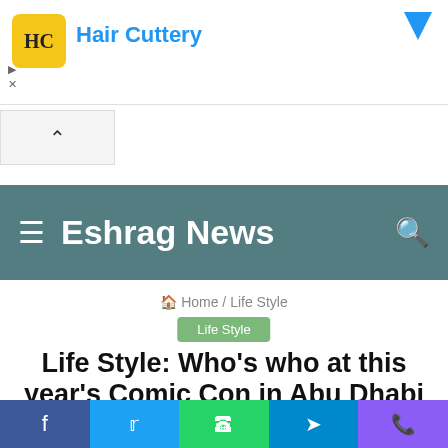[Figure (screenshot): Hair Cuttery advertisement banner with logo and blue brand name text]
Eshrag News
Home / Life Style
Life Style
Life Style: Who's who at this year's Comic Con in Abu Dhabi
news  0  20  5 minutes read
[Figure (screenshot): Social share bar with Facebook, Twitter, WhatsApp, Telegram, and phone icons]